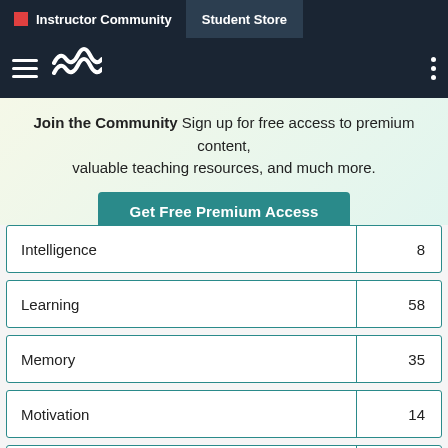Instructor Community | Student Store
Join the Community Sign up for free access to premium content, valuable teaching resources, and much more.
Get Free Premium Access
| Topic | Count |
| --- | --- |
| Intelligence | 8 |
| Learning | 58 |
| Memory | 35 |
| Motivation | 14 |
| Motivation: Hunger | 1 |
| Nature-Nurture | 7 |